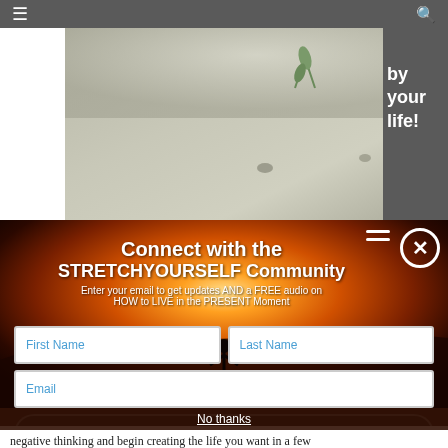[Figure (screenshot): Website screenshot showing a sand/plant photo header with navigation bar (hamburger menu and search icon) and website watermark stretchyourself.org, with partial text 'by your life!' visible on right side]
[Figure (screenshot): Modal popup overlay on a sunset desert background with a silhouette figure. Contains 'Connect with the STRETCHYOURSELF Community' headline, email signup form with First Name, Last Name, Email fields, a Connect! button, and a No thanks link. Close button (X) in top right.]
negative thinking and begin creating the life you want in a few